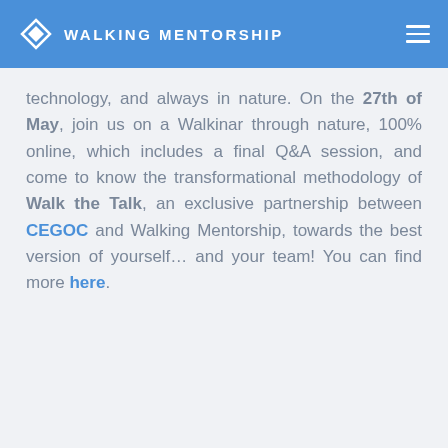WALKING MENTORSHIP
technology, and always in nature. On the 27th of May, join us on a Walkinar through nature, 100% online, which includes a final Q&A session, and come to know the transformational methodology of Walk the Talk, an exclusive partnership between CEGOC and Walking Mentorship, towards the best version of yourself… and your team! You can find more here.